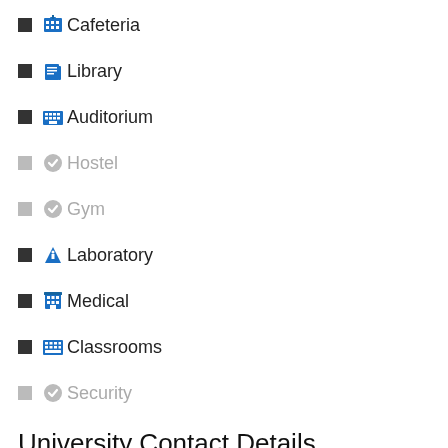Cafeteria
Library
Auditorium
Hostel
Gym
Laboratory
Medical
Classrooms
Security
University Contact Details
| # | Search result |  |
| --- | --- | --- |
| 1 | Top 10 universities in US | ▶ |
| 2 | Best Colleges in USA 2022 | ▶ |